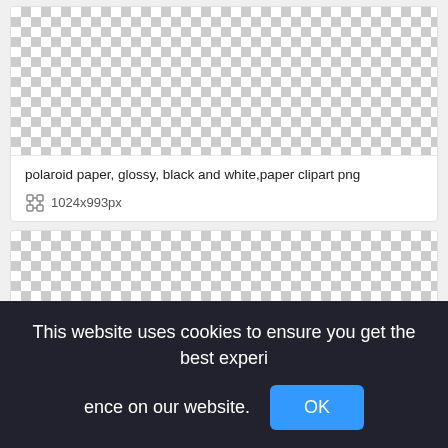[Figure (other): Checkered transparent background pattern showing a polaroid paper clipart image placeholder]
polaroid paper, glossy, black and white,paper clipart png
1024x993px
[Figure (other): Checkered transparent background pattern showing a second clipart image placeholder]
This website uses cookies to ensure you get the best experience on our website.